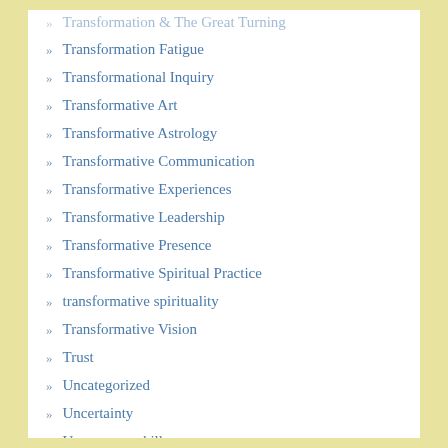Transformation & The Great Turning
Transformation Fatigue
Transformational Inquiry
Transformative Art
Transformative Astrology
Transformative Communication
Transformative Experiences
Transformative Leadership
Transformative Presence
Transformative Spiritual Practice
transformative spirituality
Transformative Vision
Trust
Uncategorized
Uncertainty
Uncommon skills